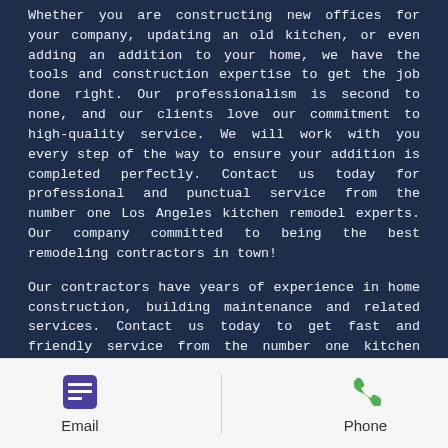Whether you are constructing new offices for your company, updating an old kitchen, or even adding an addition to your home, we have the tools and construction expertise to get the job done right. Our professionalism is second to none, and our clients love our commitment to high-quality service. We will work with you every step of the way to ensure your addition is completed perfectly. Contact us today for professional and punctual service from the number one Los Angeles kitchen remodel experts. Our company committed to being the best remodeling contractors in town!
Our contractors have years of experience in home construction, building maintenance and related services. Contact us today to get fast and friendly service from the number one kitchen remodeler Los Angeles trusts for amazing results. The most common home additions are adding a bathroom and finishing
[Figure (infographic): Footer navigation bar with Email icon (purple grid icon) and Phone icon (green phone icon)]